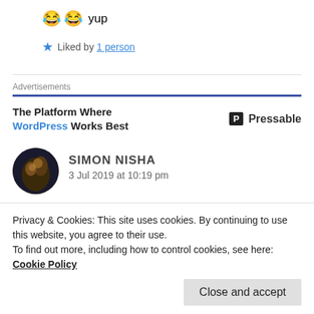😂😂 yup
★ Liked by 1 person
[Figure (other): Advertisement banner: The Platform Where WordPress Works Best — Pressable]
SIMON NISHA
3 Jul 2019 at 10:19 pm
Privacy & Cookies: This site uses cookies. By continuing to use this website, you agree to their use. To find out more, including how to control cookies, see here: Cookie Policy
Close and accept
★ Liked by 2 people